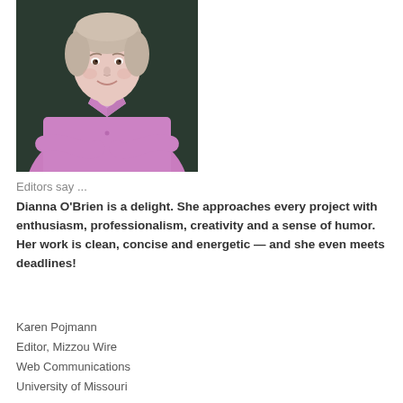[Figure (photo): Headshot photo of a woman with short light hair wearing a lavender/pink button-up shirt, arms crossed, smiling, against a dark blurred background.]
Editors say ...
Dianna O'Brien is a delight. She approaches every project with enthusiasm, professionalism, creativity and a sense of humor. Her work is clean, concise and energetic — and she even meets deadlines!
Karen Pojmann
Editor, Mizzou Wire
Web Communications
University of Missouri